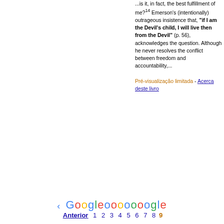...is it, in fact, the best fulfillment of me?14 Emerson's (intentionally) outrageous insistence that, "if I am the Devil's child, I will live then from the Devil" (p. 56), acknowledges the question. Although he never resolves the conflict between freedom and accountability,... Pré-visualização limitada - Acerca deste livro
[Figure (other): Google pagination bar with colored logo letters and page numbers 1-9, with Anterior (Previous) link and current page 9 highlighted in orange]